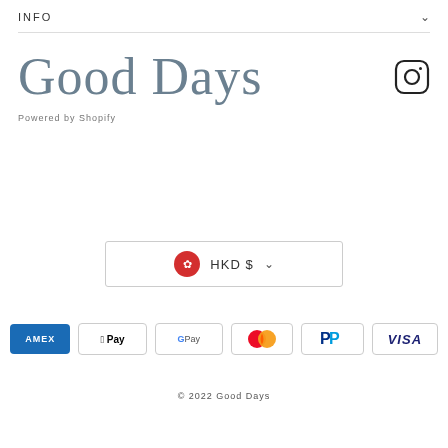INFO
Good Days
Powered by Shopify
[Figure (screenshot): Currency selector showing Hong Kong flag icon with HKD $ and a dropdown chevron, inside a bordered box]
[Figure (infographic): Payment method logos: American Express, Apple Pay, Google Pay, Mastercard, PayPal, Visa]
© 2022 Good Days